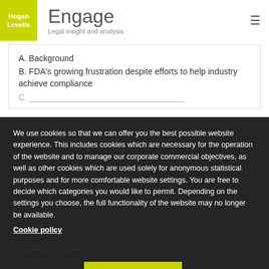Hogan Lovells Engage — Legal insight and analysis
A. Background
B. FDA's growing frustration despite efforts to help industry achieve compliance
We use cookies so that we can offer you the best possible website experience. This includes cookies which are necessary for the operation of the website and to manage our corporate commercial objectives, as well as other cookies which are used solely for anonymous statistical purposes and for more comfortable website settings. You are free to decide which categories you would like to permit. Depending on the settings you choose, the full functionality of the website may no longer be available.
Cookie policy
Cookie settings
Accept cookies